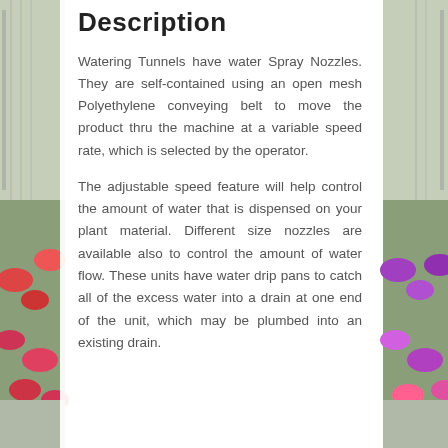[Figure (photo): Background photograph of a greenhouse interior with colorful flowers and plants on conveyor/bench systems, with structural beams visible overhead.]
Description
Watering Tunnels have water Spray Nozzles. They are self-contained using an open mesh Polyethylene conveying belt to move the product thru the machine at a variable speed rate, which is selected by the operator.
The adjustable speed feature will help control the amount of water that is dispensed on your plant material. Different size nozzles are available also to control the amount of water flow. These units have water drip pans to catch all of the excess water into a drain at one end of the unit, which may be plumbed into an existing drain.